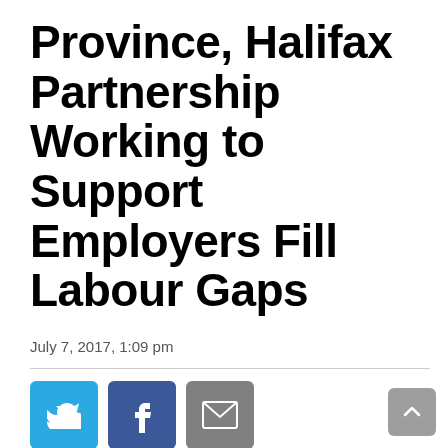Province, Halifax Partnership Working to Support Employers Fill Labour Gaps
July 7, 2017, 1:09 pm
[Figure (other): Social media share buttons: Twitter (blue), Facebook (dark blue), Email (grey)]
The province and Halifax Partnership are working